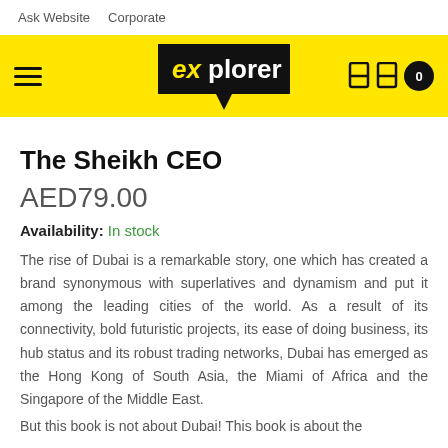Ask Website   Corporate
[Figure (logo): Explorer logo on yellow navigation bar with hamburger menu and icons]
The Sheikh CEO
AED79.00
Availability: In stock
The rise of Dubai is a remarkable story, one which has created a brand synonymous with superlatives and dynamism and put it among the leading cities of the world. As a result of its connectivity, bold futuristic projects, its ease of doing business, its hub status and its robust trading networks, Dubai has emerged as the Hong Kong of South Asia, the Miami of Africa and the Singapore of the Middle East.
But this book is not about Dubai! This book is about the